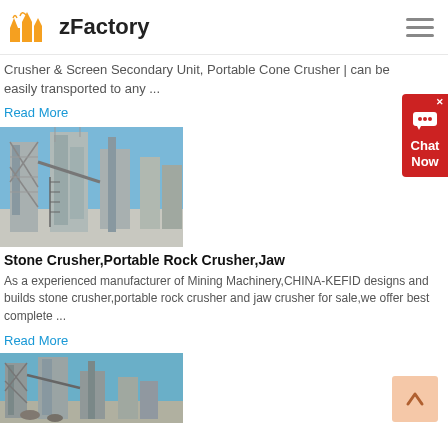zFactory
Crusher & Screen Secondary Unit, Portable Cone Crusher | can be easily transported to any ...
Read More
[Figure (photo): Industrial stone crushing machinery facility with metal scaffolding and silos against a blue sky]
Stone Crusher,Portable Rock Crusher,Jaw
As a experienced manufacturer of Mining Machinery,CHINA-KEFID designs and builds stone crusher,portable rock crusher and jaw crusher for sale,we offer best complete ...
Read More
[Figure (photo): Another industrial stone crusher and mining machinery facility]